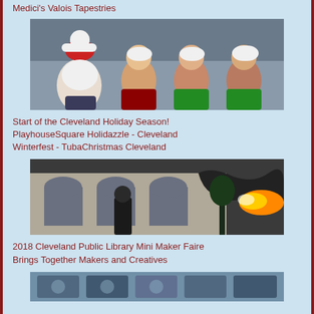Medici's Valois Tapestries
[Figure (photo): Santa Claus with three young women in holiday costumes (elf/Santa helper outfits) posing together outdoors]
Start of the Cleveland Holiday Season! PlayhouseSquare Holidazzle - Cleveland Winterfest - TubaChristmas Cleveland
[Figure (photo): A fire-breathing dragon or mechanical creature breathing flames in front of a stone building with arched windows at night]
2018 Cleveland Public Library Mini Maker Faire Brings Together Makers and Creatives
[Figure (photo): Partial view of a third article image, partially cut off at bottom of page]